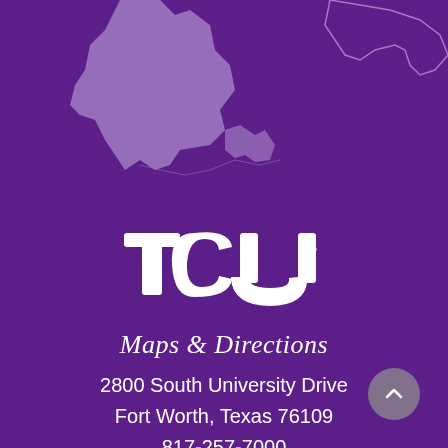[Figure (map): Partial map of the southeastern United States shown in muted purple/lavender on a dark purple background, partially visible at the top of the page]
[Figure (logo): TCU logo in white bold block lettering with registered trademark symbol, arched style]
Maps & Directions
2800 South University Drive
Fort Worth, Texas 76109
817-257-7000